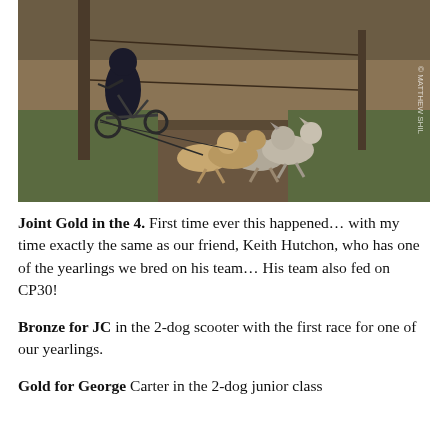[Figure (photo): A person on a bike/scooter being pulled by a team of several dogs (huskies and other breeds) running along a dirt trail through a wooded area with dry grass and trees. Photo credit: © MATTHEW SHIL]
Joint Gold in the 4.  First time ever this happened… with my time exactly the same as our friend, Keith Hutchon, who has one of the yearlings we bred on his team… His team also fed on CP30!
Bronze for JC in the 2-dog scooter with the first race for one of our yearlings.
Gold for George Carter in the 2-dog junior class